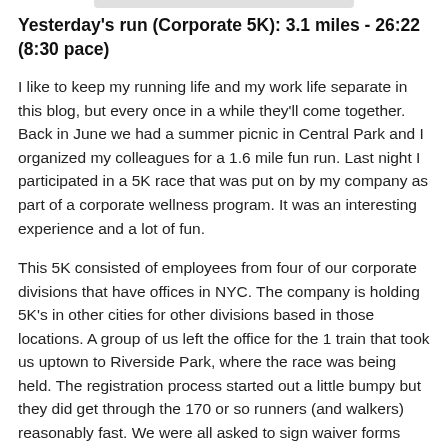Yesterday's run (Corporate 5K): 3.1 miles - 26:22 (8:30 pace)
I like to keep my running life and my work life separate in this blog, but every once in a while they'll come together. Back in June we had a summer picnic in Central Park and I organized my colleagues for a 1.6 mile fun run. Last night I participated in a 5K race that was put on by my company as part of a corporate wellness program. It was an interesting experience and a lot of fun.
This 5K consisted of employees from four of our corporate divisions that have offices in NYC. The company is holding 5K's in other cities for other divisions based in those locations. A group of us left the office for the 1 train that took us uptown to Riverside Park, where the race was being held. The registration process started out a little bumpy but they did get through the 170 or so runners (and walkers) reasonably fast. We were all asked to sign waiver forms even though we'd already done that online.